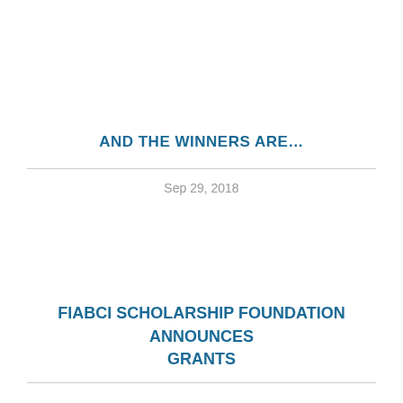AND THE WINNERS ARE...
Sep 29, 2018
FIABCI SCHOLARSHIP FOUNDATION ANNOUNCES GRANTS